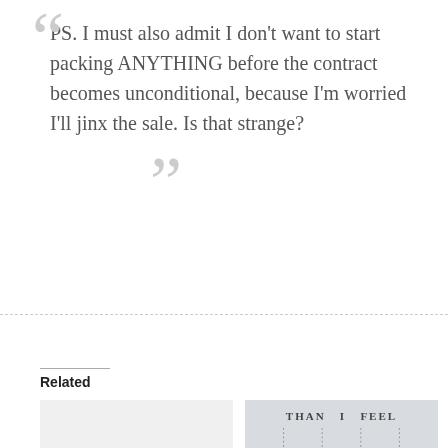PS. I must also admit I don't want to start packing ANYTHING before the contract becomes unconditional, because I'm worried I'll jinx the sale. Is that strange?
Related
[Figure (photo): Image with text 'THAN I FEEL' and vertical hanging chains with a silhouetted figure]
Making changes from a place of love
Quiet desperation
11/05/2016